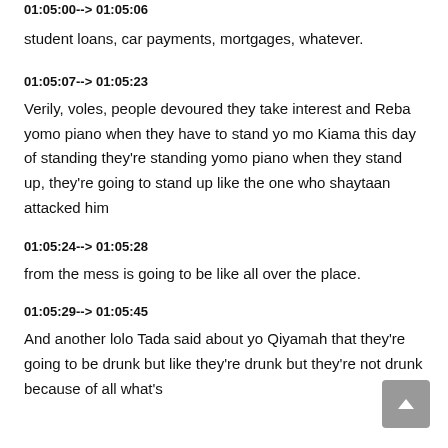01:05:00--> 01:05:06
student loans, car payments, mortgages, whatever.
01:05:07--> 01:05:23
Verily, voles, people devoured they take interest and Reba yomo piano when they have to stand yo mo Kiama this day of standing they're standing yomo piano when they stand up, they're going to stand up like the one who shaytaan attacked him
01:05:24--> 01:05:28
from the mess is going to be like all over the place.
01:05:29--> 01:05:45
And another lolo Tada said about yo Qiyamah that they're going to be drunk but like they're drunk but they're not drunk because of all what's